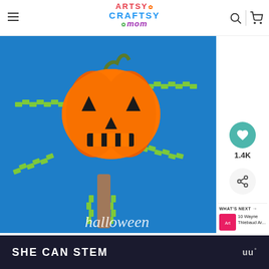Artsy Craftsy Mom
[Figure (photo): Halloween craft photo showing a paper pumpkin puppet on a popsicle stick with green accordion paper arms and legs on a blue background, with a Frankenstein paper craft in the lower left and 'halloween' text overlay at bottom]
1.4K
WHAT'S NEXT → 10 Wayne Thiebaud Ar...
SHE CAN STEM